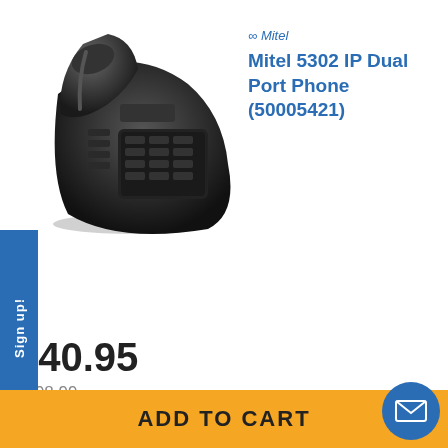[Figure (photo): Black Mitel 5302 IP Dual Port desk phone, angled view]
Mitel 5302 IP Dual Port Phone (50005421)
$40.95
$198.99 (strikethrough)
[Figure (photo): Black Mitel 5304 IP Basic Backlit Display desk phone, angled view]
Mitel 5304 IP Basic Backlit Display Phone (51011571) - Grade B
$6.99 (partially visible)
ADD TO CART